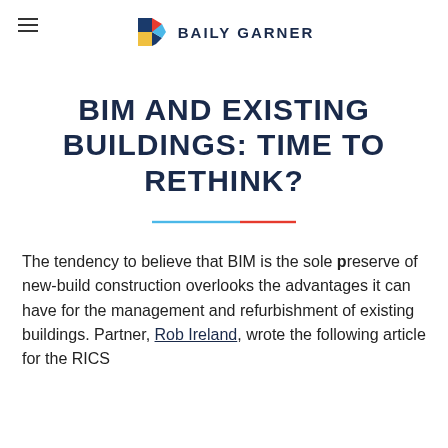≡  BAILY GARNER
BIM AND EXISTING BUILDINGS: TIME TO RETHINK?
The tendency to believe that BIM is the sole preserve of new-build construction overlooks the advantages it can have for the management and refurbishment of existing buildings. Partner, Rob Ireland, wrote the following article for the RICS